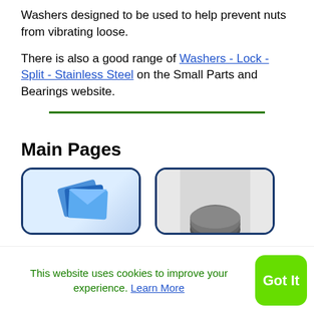Washers designed to be used to help prevent nuts from vibrating loose.
There is also a good range of Washers - Lock - Split - Stainless Steel on the Small Parts and Bearings website.
[Figure (other): Green horizontal divider rule]
Main Pages
[Figure (screenshot): Two thumbnail images showing product pages - left thumbnail shows blue envelope/paper icons, right thumbnail shows a dark washer/ring component]
This website uses cookies to improve your experience. Learn More
Got It